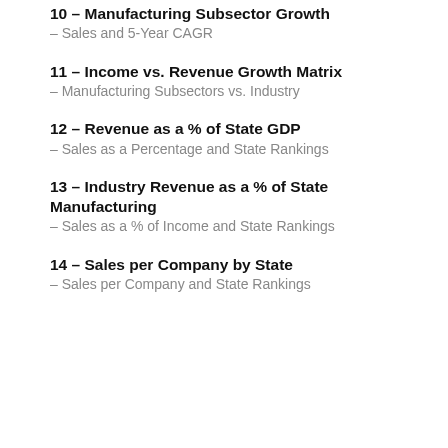10 – Manufacturing Subsector Growth – Sales and 5-Year CAGR
11 – Income vs. Revenue Growth Matrix – Manufacturing Subsectors vs. Industry
12 – Revenue as a % of State GDP – Sales as a Percentage and State Rankings
13 – Industry Revenue as a % of State Manufacturing – Sales as a % of Income and State Rankings
14 – Sales per Company by State – Sales per Company and State Rankings